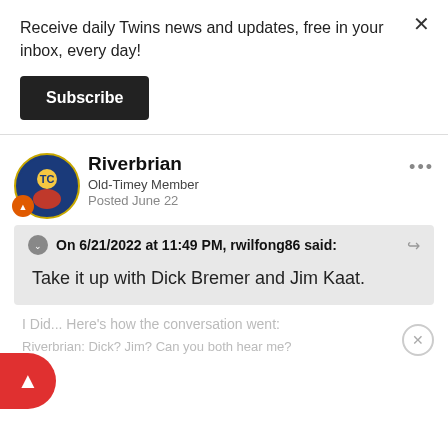Receive daily Twins news and updates, free in your inbox, every day!
Subscribe
Riverbrian
Old-Timey Member
Posted June 22
On 6/21/2022 at 11:49 PM, rwilfong86 said:
Take it up with Dick Bremer and Jim Kaat.
I Did... Here's how the conversation went:
Riverbrian: Dick? Jim? Can you both hear me?